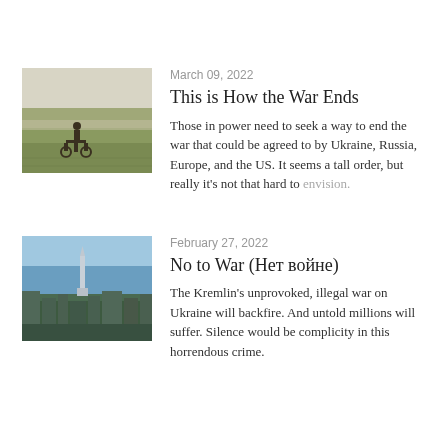[Figure (photo): Thumbnail photo of a rural field landscape with a wooden cart or farm equipment in a grassy plain under a pale sky.]
March 09, 2022
This is How the War Ends
Those in power need to seek a way to end the war that could be agreed to by Ukraine, Russia, Europe, and the US. It seems a tall order, but really it's not that hard to envision.
[Figure (photo): Thumbnail aerial photo of a city skyline with a tall monument/tower visible, under a blue sky — appears to be Kyiv, Ukraine.]
February 27, 2022
No to War (Нет войне)
The Kremlin's unprovoked, illegal war on Ukraine will backfire. And untold millions will suffer. Silence would be complicity in this horrendous crime.